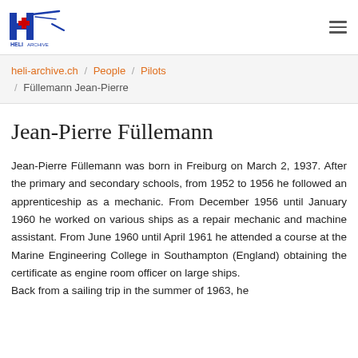Heli Archive logo / navigation
heli-archive.ch / People / Pilots / Füllemann Jean-Pierre
Jean-Pierre Füllemann
Jean-Pierre Füllemann was born in Freiburg on March 2, 1937. After the primary and secondary schools, from 1952 to 1956 he followed an apprenticeship as a mechanic. From December 1956 until January 1960 he worked on various ships as a repair mechanic and machine assistant. From June 1960 until April 1961 he attended a course at the Marine Engineering College in Southampton (England) obtaining the certificate as engine room officer on large ships. Back from a sailing trip in the summer of 1963, he